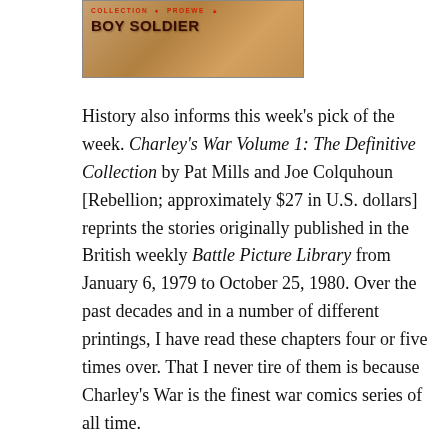[Figure (illustration): Book cover image for 'Boy Soldier' with red and brown tones, showing collection branding at top and bold title text.]
History also informs this week's pick of the week. Charley's War Volume 1: The Definitive Collection by Pat Mills and Joe Colquhoun [Rebellion; approximately $27 in U.S. dollars] reprints the stories originally published in the British weekly Battle Picture Library from January 6, 1979 to October 25, 1980. Over the past decades and in a number of different printings, I have read these chapters four or five times over. That I never tire of them is because Charley's War is the finest war comics series of all time.
This is the story of Charley Bourne, an underage British soldier who lies about his age to join the